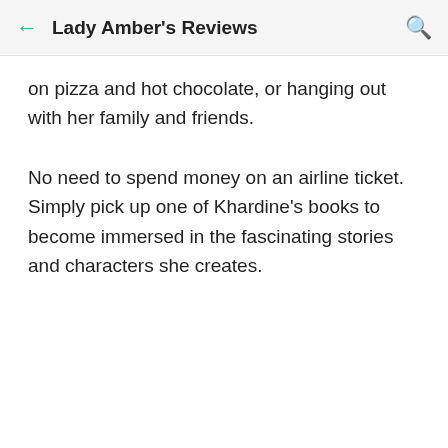Lady Amber's Reviews
on pizza and hot chocolate, or hanging out with her family and friends.
No need to spend money on an airline ticket. Simply pick up one of Khardine's books to become immersed in the fascinating stories and characters she creates.